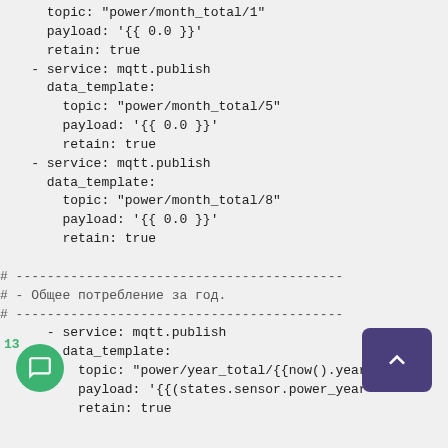data_template:
  topic: "power/month_total/1"
  payload: '{{ 0.0 }}'
  retain: true
- service: mqtt.publish
  data_template:
    topic: "power/month_total/5"
    payload: '{{ 0.0 }}'
    retain: true
- service: mqtt.publish
  data_template:
    topic: "power/month_total/8"
    payload: '{{ 0.0 }}'
    retain: true

# -------------------------------------------
# - Общее потребление за год.
# -------------------------------------------
    - service: mqtt.publish
      data_template:
        topic: "power/year_total/{{now().year
        payload: '{{(states.sensor.power_year
        retain: true